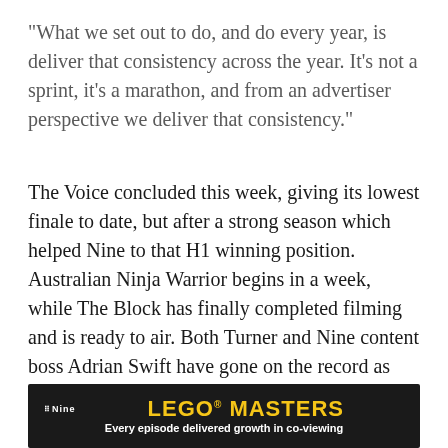“What we set out to do, and do every year, is deliver that consistency across the year. It’s not a sprint, it’s a marathon, and from an advertiser perspective we deliver that consistency.”
The Voice concluded this week, giving its lowest finale to date, but after a strong season which helped Nine to that H1 winning position. Australian Ninja Warrior begins in a week, while The Block has finally completed filming and is ready to air. Both Turner and Nine content boss Adrian Swift have gone on the record as saying this will be the best season of The Block ever, largely thanks to the impact of COVID-19.
[Figure (other): Dark banner advertisement for Nine network showing the LEGO Masters show logo in yellow bold text with the Nine network logo on the left and the tagline 'Every episode delivered growth in co-viewing' in white text below.]